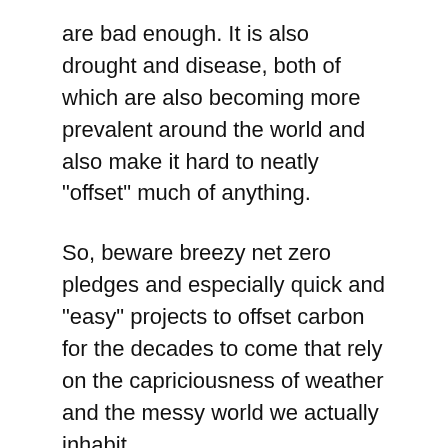are bad enough. It is also drought and disease, both of which are also becoming more prevalent around the world and also make it hard to neatly "offset" much of anything.
So, beware breezy net zero pledges and especially quick and "easy" projects to offset carbon for the decades to come that rely on the capriciousness of weather and the messy world we actually inhabit.
And stay alert for insurance firms that will try and make a secondary market insuring those same pledges from being immolated in the markets, if not in the actual forests. ESG insurance specialists will be springing up to "help" keep net zero emissions on track.